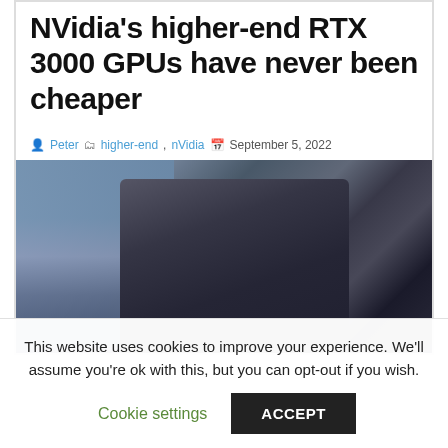NVidia's higher-end RTX 3000 GPUs have never been cheaper
Peter  higher-end, nVidia  September 5, 2022
[Figure (photo): Close-up photo of a gaming PC setup showing GPU cables, headphones, and dark PC components with a monitor visible in the background showing a colorful game scene.]
This website uses cookies to improve your experience. We'll assume you're ok with this, but you can opt-out if you wish.
Cookie settings  ACCEPT